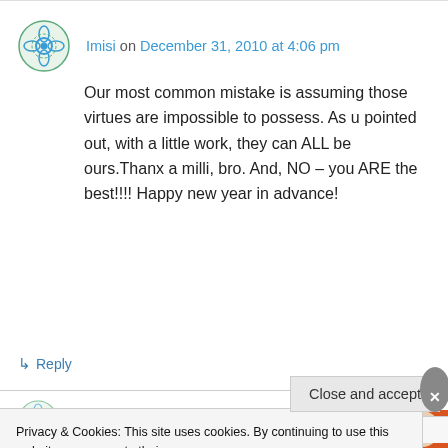Imisi on December 31, 2010 at 4:06 pm
Our most common mistake is assuming those virtues are impossible to possess. As u pointed out, with a little work, they can ALL be ours.Thanx a milli, bro. And, NO – you ARE the best!!!! Happy new year in advance!
↳ Reply
darel2020 on January 9, 2011 at 12:44 pm
Privacy & Cookies: This site uses cookies. By continuing to use this website, you agree to their use.
To find out more, including how to control cookies, see here: Cookie Policy
Close and accept